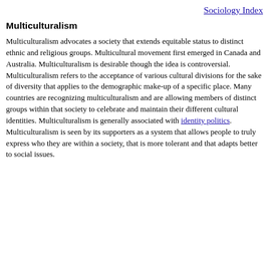Sociology Index
Multiculturalism
Multiculturalism advocates a society that extends equitable status to distinct ethnic and religious groups. Multicultural movement first emerged in Canada and Australia. Multiculturalism is desirable though the idea is controversial. Multiculturalism refers to the acceptance of various cultural divisions for the sake of diversity that applies to the demographic make-up of a specific place. Many countries are recognizing multiculturalism and are allowing members of distinct groups within that society to celebrate and maintain their different cultural identities. Multiculturalism is generally associated with identity politics. Multiculturalism is seen by its supporters as a system that allows people to truly express who they are within a society, that is more tolerant and that adapts better to social issues.